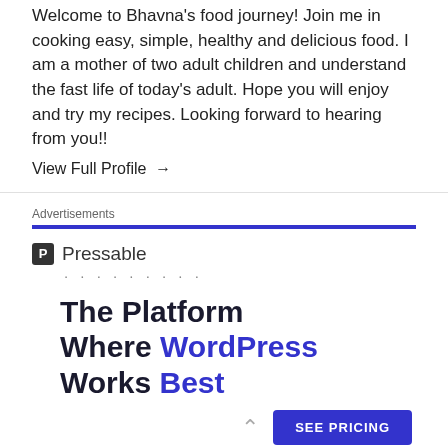Welcome to Bhavna's food journey! Join me in cooking easy, simple, healthy and delicious food. I am a mother of two adult children and understand the fast life of today's adult. Hope you will enjoy and try my recipes. Looking forward to hearing from you!!
View Full Profile →
Advertisements
[Figure (screenshot): Pressable advertisement featuring logo with 'P' icon, dotted separator, headline 'The Platform Where WordPress Works Best' and a 'SEE PRICING' button]